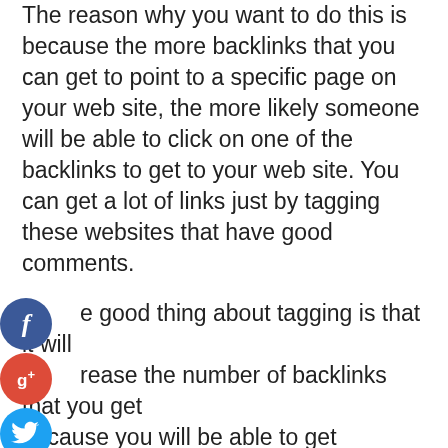The reason why you want to do this is because the more backlinks that you can get to point to a specific page on your web site, the more likely someone will be able to click on one of the backlinks to get to your web site. You can get a lot of links just by tagging these websites that have good comments.
[Figure (infographic): Social media sharing icons: Facebook (blue circle with f), Google+ (red circle with g+), Twitter (blue circle with bird), and a dark plus circle]
e good thing about tagging is that it will rease the number of backlinks that you get because you will be able to get backlinks from er sites that are related to yours. If you tag veral websites you will be able to increase your ranking in the search engines as well. This is important because search engines are always